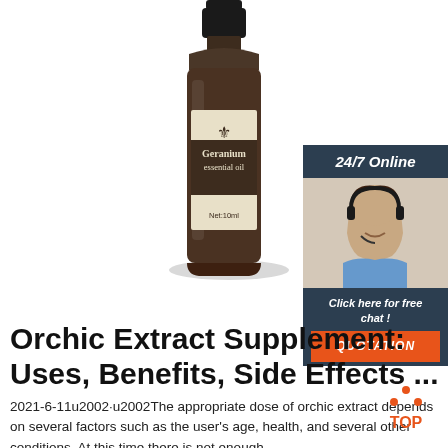[Figure (photo): Geranium essential oil bottle - amber glass dropper bottle with cream/gold label showing a fleur-de-lis symbol, text 'Geranium essential oil', 'Net:10ml']
[Figure (infographic): Online chat advertisement sidebar with '24/7 Online' header, photo of female customer service rep with headset, 'Click here for free chat!' text, and orange 'QUOTATION' button]
Orchic Extract Supplement: Uses, Benefits, Side Effects ...
2021-6-11u2002·u2002The appropriate dose of orchic extract depends on several factors such as the user's age, health, and several other conditions. At this time there is not enough
[Figure (logo): Orange TOP arrow/chevron logo in bottom right]